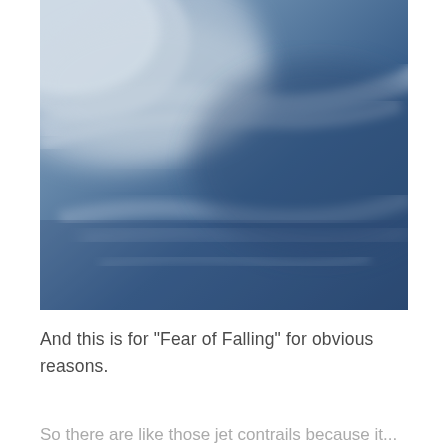[Figure (photo): Photograph of dramatic cloudy blue sky with wispy white clouds sweeping diagonally across a deep blue background]
And this is for “Fear of Falling” for obvious reasons.
So there are like those jet contrails because it...